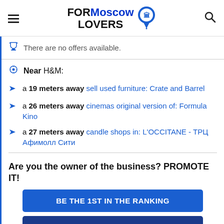FORMoscow LOVERS
There are no offers available.
Near H&M:
a 19 meters away sell used furniture: Crate and Barrel
a 26 meters away cinemas original version of: Formula Kino
a 27 meters away candle shops in: L'OCCITANE - ТРЦ Афимолл Сити
Are you the owner of the business? PROMOTE IT!
BE THE 1ST IN THE RANKING
EXCLUSIVE PAGE